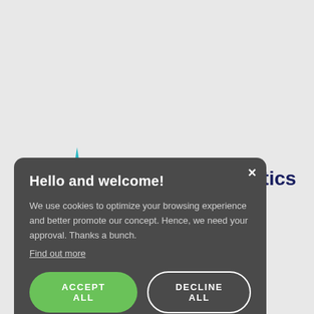[Figure (logo): Re:Think:Analytics logo with star/compass icon and text partially obscured by cookie modal]
Hello and welcome!
We use cookies to optimize your browsing experience and better promote our concept. Hence, we need your approval. Thanks a bunch.
Find out more
ACCEPT ALL
DECLINE ALL
POWERED BY COOKIE-SCRIPT